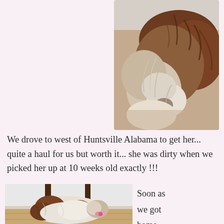[Figure (photo): Close-up photograph of a fluffy brown and white dog (Shih Tzu or similar breed) with long curly fur covering its face, sitting on a light surface]
We drove to west of Huntsville Alabama to get her... quite a haul for us but worth it... she was dirty when we picked her up at 10 weeks old exactly !!!
[Figure (photo): Photograph of a small white and brown fluffy puppy lying on a wooden floor near chair legs, with a pink bow/accessory]
Soon as we got home she